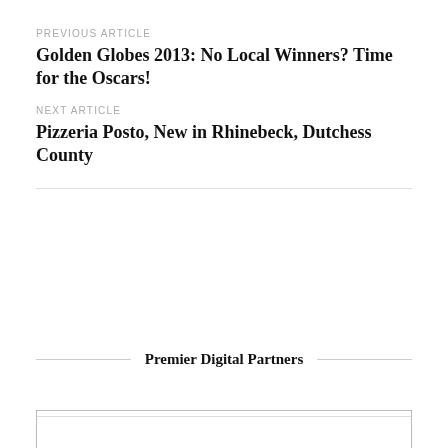PREVIOUS ARTICLE
Golden Globes 2013: No Local Winners? Time for the Oscars!
NEXT ARTICLE
Pizzeria Posto, New in Rhinebeck, Dutchess County
Premier Digital Partners
[Figure (other): Advertisement box placeholder at bottom of page]